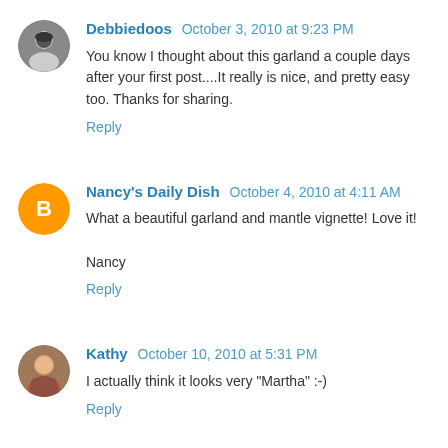Debbiedoos October 3, 2010 at 9:23 PM
You know I thought about this garland a couple days after your first post....It really is nice, and pretty easy too. Thanks for sharing.
Reply
Nancy's Daily Dish October 4, 2010 at 4:11 AM
What a beautiful garland and mantle vignette! Love it!

Nancy
Reply
Kathy October 10, 2010 at 5:31 PM
I actually think it looks very "Martha" :-)
Reply